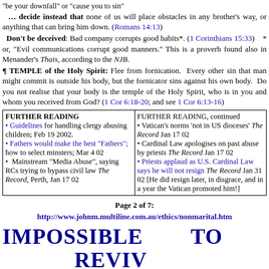"be your downfall" or "cause you to sin"
… decide instead that none of us will place obstacles in any brother's way, or anything that can bring him down. (Romans 14:13)
Don't be deceived: Bad company corrupts good habits*. (1 Corinthians 15:33)   * or, "Evil communications corrupt good manners." This is a proverb found also in Menander's Thais, according to the NJB.
¶ TEMPLE of the Holy Spirit: Flee from fornication. Every other sin that man might commit is outside his body, but the fornicator sins against his own body. Do you not realise that your body is the temple of the Holy Spirit, who is in you and whom you received from God? (1 Cor 6:18-20; and see 1 Cor 6:13-16)
| FURTHER READING | FURTHER READING, continued |
| --- | --- |
| • Guidelines for handling clergy abusing children; Feb 19 2002.
• Fathers would make the best "Fathers"; how to select minsters; Mar 4 02
• Mainstream "Media Abuse", saying RCs trying to bypass civil law The Record, Perth, Jan 17 02 | • Vatican's norms 'not in US dioceses' The Record Jan 17 02
• Cardinal Law apologises on past abuse by priests The Record Jan 17 02
• Priests applaud as U.S. Cardinal Law says he will not resign The Record Jan 31 02 [He did resign later, in disgrace, and in a year the Vatican promoted him!] |
Page 2 of 7:
http://www.johnm.multiline.com.au/ethics/nonmarital.htm
IMPOSSIBLE TO REVIV
REPENTANCE?